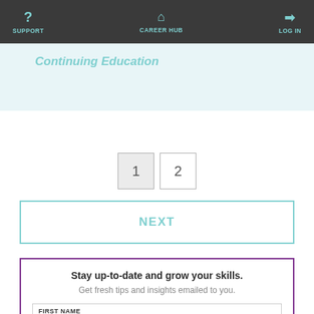SUPPORT | CAREER HUB | LOG IN
Continuing Education
1  2
NEXT
Stay up-to-date and grow your skills. Get fresh tips and insights emailed to you.
FIRST NAME